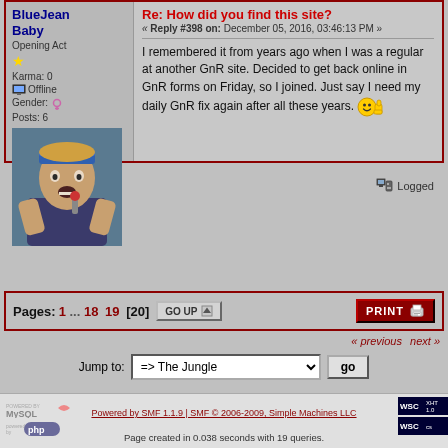BlueJean Baby
Opening Act
Karma: 0
Offline
Gender: ♀
Posts: 6
[Figure (photo): Avatar photo of a rock performer with bandana singing into microphone]
Re: How did you find this site?
« Reply #398 on: December 05, 2016, 03:46:13 PM »
I remembered it from years ago when I was a regular at another GnR site. Decided to get back online in GnR forms on Friday, so I joined. Just say I need my daily GnR fix again after all these years.
Logged
Pages: 1 ... 18 19 [20]
« previous next »
Jump to: => The Jungle  go
Powered by SMF 1.1.9 | SMF © 2006-2009, Simple Machines LLC
Page created in 0.038 seconds with 19 queries.